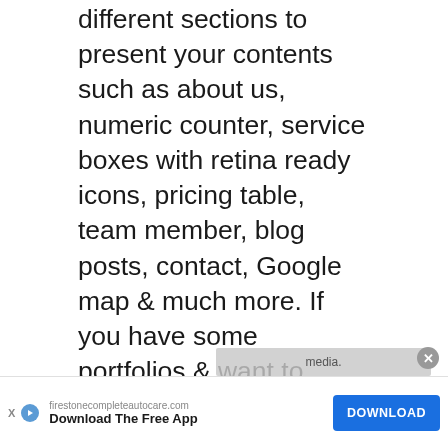different sections to present your contents such as about us, numeric counter, service boxes with retina ready icons, pricing table, team member, blog posts, contact, Google map & much more. If you have some portfolios & want to showcase them then no worries because Rexly gives you the ability to showcase your artworks within the same homepage. Besides that, integrating shop will be super simple as the WooCommerce plugin is fully integrated with this theme.[/vc_column_text][vc_btn title="Preview" style="outline" shape="square" color="primary" i_icon_fontawesome="fa fa-search" add_icon="true"
[Figure (screenshot): Overlay banner ad with text about media and a close button]
[Figure (screenshot): Advertisement banner for firestonecompleteautocare.com showing 'Download The Free App' with a blue DOWNLOAD button]